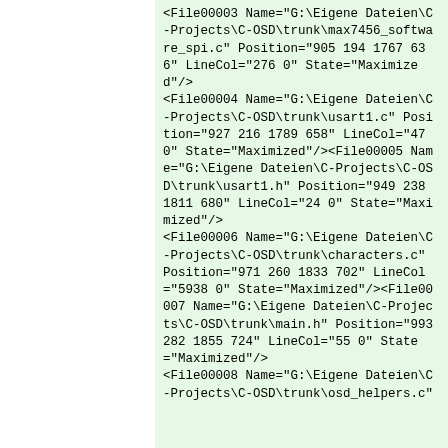<File00003 Name="G:\Eigene Dateien\C-Projects\C-OSD\trunk\max7456_software_spi.c" Position="905 194 1767 636" LineCol="276 0" State="Maximized"/>
<File00004 Name="G:\Eigene Dateien\C-Projects\C-OSD\trunk\usart1.c" Position="927 216 1789 658" LineCol="47 0" State="Maximized"/><File00005 Name="G:\Eigene Dateien\C-Projects\C-OSD\trunk\usart1.h" Position="949 238 1811 680" LineCol="24 0" State="Maximized"/>
<File00006 Name="G:\Eigene Dateien\C-Projects\C-OSD\trunk\characters.c" Position="971 260 1833 702" LineCol="5938 0" State="Maximized"/><File00007 Name="G:\Eigene Dateien\C-Projects\C-OSD\trunk\main.h" Position="993 282 1855 724" LineCol="55 0" State="Maximized"/>
<File00008 Name="G:\Eigene Dateien\C-Projects\C-OSD\trunk\osd_helpers.c"